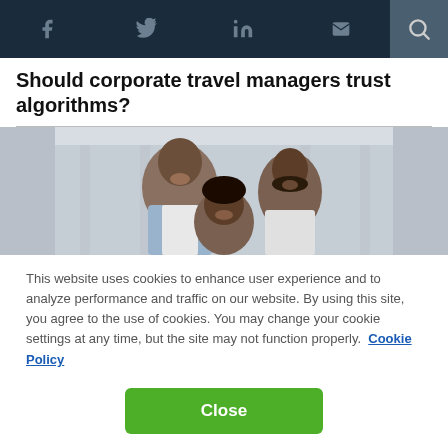Social media and search navigation bar with icons: f (Facebook), Twitter bird, in (LinkedIn), email envelope, search magnifier
Should corporate travel managers trust algorithms?
[Figure (photo): Three smiling Black people (a man, a woman, and a girl) in a bright modern corridor/airport setting]
This website uses cookies to enhance user experience and to analyze performance and traffic on our website. By using this site, you agree to the use of cookies. You may change your cookie settings at any time, but the site may not function properly.  Cookie Policy
Close